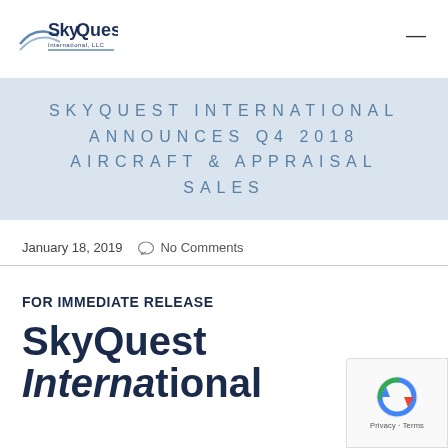[Figure (logo): SkyQuest International LLC logo with stylized text and blue underline graphic]
SKYQUEST INTERNATIONAL ANNOUNCES Q4 2018 AIRCRAFT & APPRAISAL SALES
January 18, 2019   No Comments
FOR IMMEDIATE RELEASE
SkyQuest International